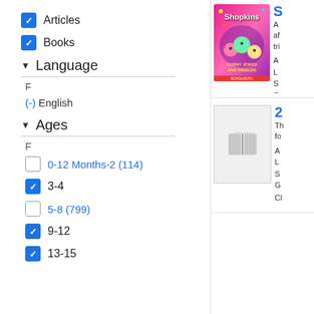Articles (checked)
Books (checked)
Language
F
(-) English
Ages
F
0-12 Months-2 (114) (unchecked)
3-4 (checked)
5-8 (799) (unchecked)
9-12 (checked)
13-15 (checked)
[Figure (photo): Shopkins Corny Jokes and Riddles book cover with cartoon characters on pink background]
S
A
L
S
G
Cl
[Figure (photo): Generic book placeholder image with gray open book icon]
2
Th
fo
A
L
S
G
Cl